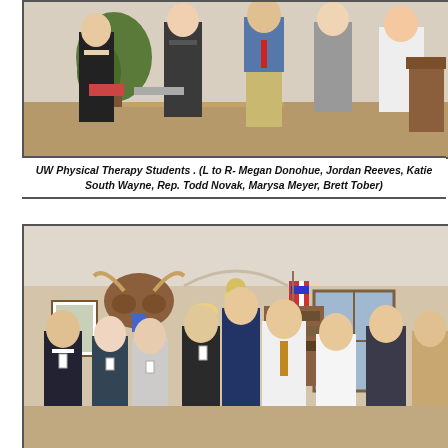[Figure (photo): Group photo of UW Physical Therapy Students posing in an office setting with plants and a desk visible in the background.]
UW Physical Therapy Students . (L to R- Megan Donohue, Jordan Reeves, Katie South Wayne, Rep. Todd Novak, Marysa Meyer, Brett Tober)
[Figure (photo): Group photo of approximately ten people standing together in an office room with a mounted cow head, a US flag, and a window visible in the background.]